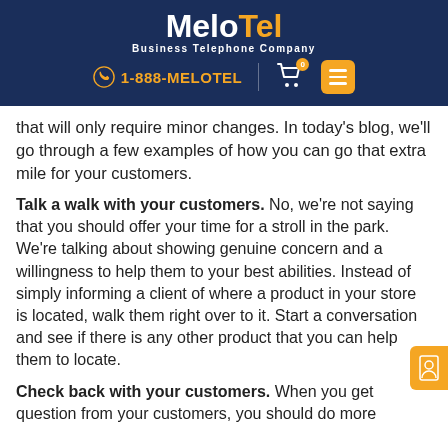MeloTel Business Telephone Company | 1-888-MELOTEL
that will only require minor changes. In today's blog, we'll go through a few examples of how you can go that extra mile for your customers.
Talk a walk with your customers. No, we're not saying that you should offer your time for a stroll in the park. We're talking about showing genuine concern and a willingness to help them to your best abilities. Instead of simply informing a client of where a product in your store is located, walk them right over to it. Start a conversation and see if there is any other product that you can help them to locate.
Check back with your customers. When you get question from your customers, you should do more